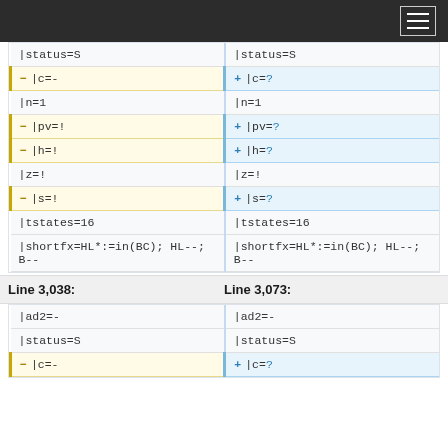[Figure (screenshot): Top navigation bar with dark background and hamburger menu icon]
| Left (old) | Right (new) |
| --- | --- |
| |status=S | |status=S |
| |c=- | |c=? |
| |n=1 | |n=1 |
| |pv=! | |pv=? |
| |h=! | |h=? |
| |z=! | |z=! |
| |s=! | |s=? |
| |tstates=16 | |tstates=16 |
| |shortfx=HL*:=in(BC); HL--; B-- | |shortfx=HL*:=in(BC); HL--; B-- |
Line 3,038:	Line 3,073:
| Left (old) | Right (new) |
| --- | --- |
| |ad2=- | |ad2=- |
| |status=S | |status=S |
| |c=- | |c=? |